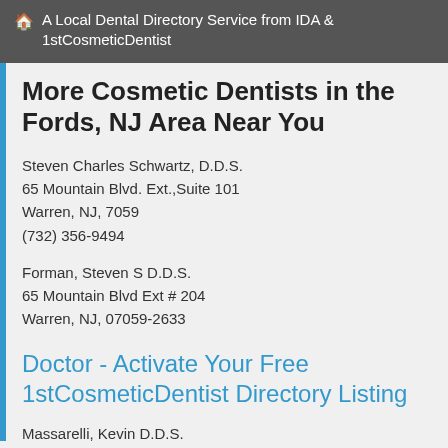🏠 A Local Dental Directory Service from IDA & 1stCosmeticDentist
More Cosmetic Dentists in the Fords, NJ Area Near You
Steven Charles Schwartz, D.D.S.
65 Mountain Blvd. Ext.,Suite 101
Warren, NJ, 7059
(732) 356-9494
Forman, Steven S D.D.S.
65 Mountain Blvd Ext # 204
Warren, NJ, 07059-2633
Doctor - Activate Your Free 1stCosmeticDentist Directory Listing
Massarelli, Kevin D.D.S.
178 Mount Bethel Rd
Warren, NJ, 07059-5147
Greenbaum, Steven L D.D.S.
161 Washington Valley Rd # 202